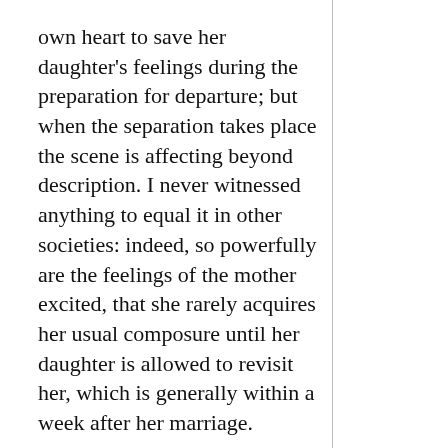own heart to save her daughter's feelings during the preparation for departure; but when the separation takes place the scene is affecting beyond description. I never witnessed anything to equal it in other societies: indeed, so powerfully are the feelings of the mother excited, that she rarely acquires her usual composure until her daughter is allowed to revisit her, which is generally within a week after her marriage.
P.S.–I have remarked that, in important things which have nothing to do with the religion of the Mussulmauns, they are disposed to imitate the habits of the Hindoos: this is more